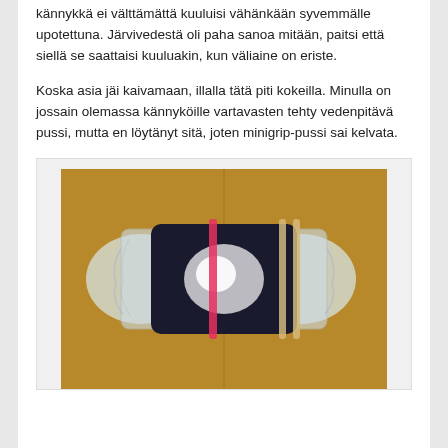kännykkä ei välttämättä kuuluisi vähänkään syvemmälle upotettuna. Järvivedestä oli paha sanoa mitään, paitsi että siellä se saattaisi kuuluakin, kun väliaine on eriste.
Koska asia jäi kaivamaan, illalla tätä piti kokeilla. Minulla on jossain olemassa kännyköille vartavasten tehty vedenpitävä pussi, mutta en löytänyt sitä, joten minigrip-pussi sai kelvata.
[Figure (photo): A mobile phone sealed inside a clear minigrip/ziplock plastic bag, secured with rubber bands (pink/red and beige/yellow), placed on a wooden surface.]